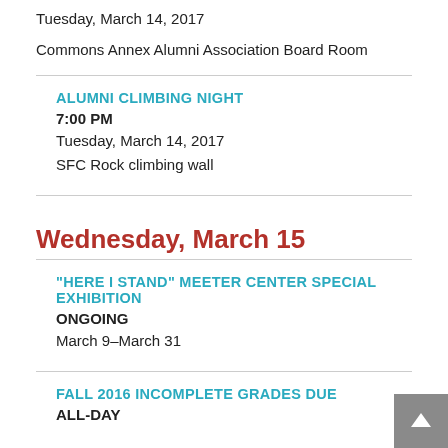Tuesday, March 14, 2017
Commons Annex Alumni Association Board Room
ALUMNI CLIMBING NIGHT
7:00 PM
Tuesday, March 14, 2017
SFC Rock climbing wall
Wednesday, March 15
"HERE I STAND" MEETER CENTER SPECIAL EXHIBITION
ONGOING
March 9–March 31
FALL 2016 INCOMPLETE GRADES DUE
ALL-DAY